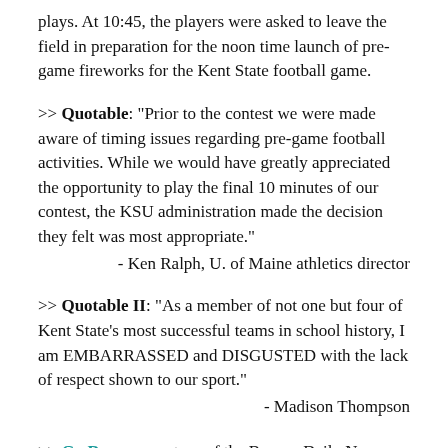plays. At 10:45, the players were asked to leave the field in preparation for the noon time launch of pre-game fireworks for the Kent State football game.
>> Quotable: "Prior to the contest we were made aware of timing issues regarding pre-game football activities. While we would have greatly appreciated the opportunity to play the final 10 minutes of our contest, the KSU administration made the decision they felt was most appropriate."
- Ken Ralph, U. of Maine athletics director
>> Quotable II: "As a member of not one but four of Kent State's most successful teams in school history, I am EMBARRASSED and DISGUSTED with the lack of respect shown to our sport."
- Madison Thompson
>> Go Deeper courtesy of the Bangor Daily News